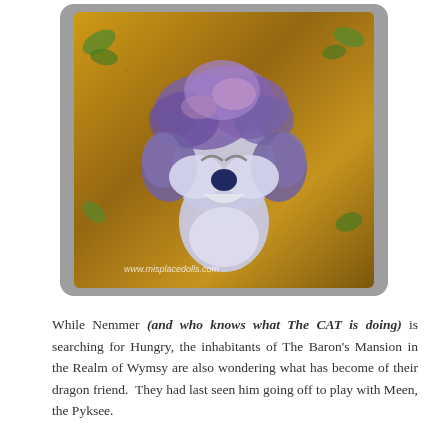[Figure (photo): A needle-felted creature resembling a smiling wolf or cat with purple and blue fluffy hair, set against a golden ornate background. Watermark reads www.misplacedolls.com]
While Nemmer (and who knows what The CAT is doing) is searching for Hungry, the inhabitants of The Baron's Mansion in the Realm of Wymsy are also wondering what has become of their dragon friend.  They had last seen him going off to play with Meen, the Pyksee.